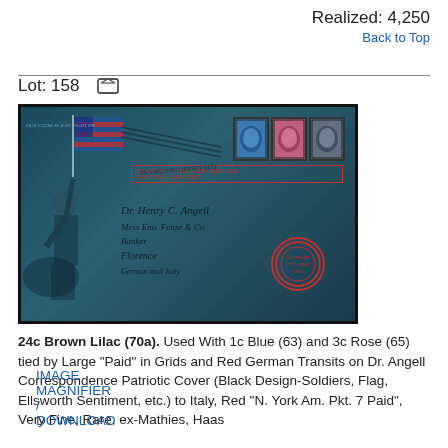Realized: 4,250
Back to Top
Lot: 158
[Figure (photo): Patriotic Civil War era envelope/cover with black design showing soldiers and American flag (Ellsworth Sentiment), three postage stamps (1c Blue, 3c Rose, 24c Brown Lilac), handwritten address to Dr. Henry C. Angell, red German transit stamps, and red 'N. York Am. Pkt. 7 Paid' marking.]
24c Brown Lilac (70a). Used With 1c Blue (63) and 3c Rose (65) tied by Large "Paid" in Grids and Red German Transits on Dr. Angell Correspondence Patriotic Cover (Black Design-Soldiers, Flag, Ellsworth Sentiment, etc.) to Italy, Red "N. York Am. Pkt. 7 Paid", Very Fine, Rare, ex-Mathies, Haas
IMAGE MAGNIFIER / DOWNLOAD